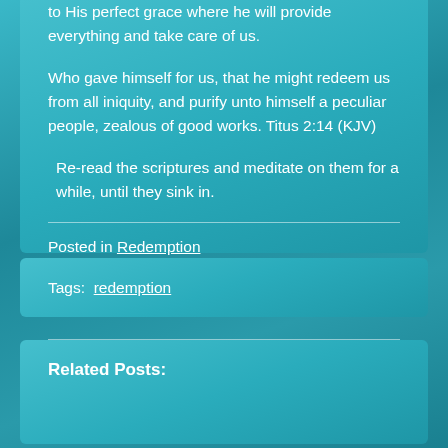to His perfect grace where he will provide everything and take care of us.
Who gave himself for us, that he might redeem us from all iniquity, and purify unto himself a peculiar people, zealous of good works. Titus 2:14 (KJV)
Re-read the scriptures and meditate on them for a while, until they sink in.
Posted in Redemption
Tags:  redemption
Related Posts: